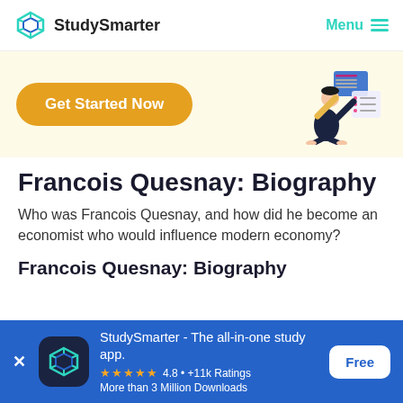StudySmarter   Menu
[Figure (infographic): Banner with yellow 'Get Started Now' button on cream background, with illustration of person multitasking with digital content on right side]
Francois Quesnay: Biography
Who was Francois Quesnay, and how did he become an economist who would influence modern economy?
Francois Quesnay: Biography
[Figure (infographic): Blue app download banner: StudySmarter - The all-in-one study app. 4.8 +11k Ratings, More than 3 Million Downloads. Free button on right.]